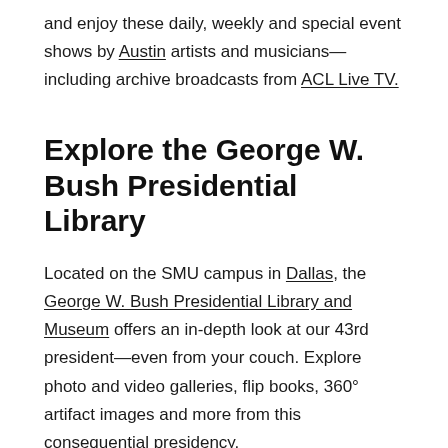and enjoy these daily, weekly and special event shows by Austin artists and musicians—including archive broadcasts from ACL Live TV.
Explore the George W. Bush Presidential Library
Located on the SMU campus in Dallas, the George W. Bush Presidential Library and Museum offers an in-depth look at our 43rd president—even from your couch. Explore photo and video galleries, flip books, 360° artifact images and more from this consequential presidency.
View the Modern Art Museum